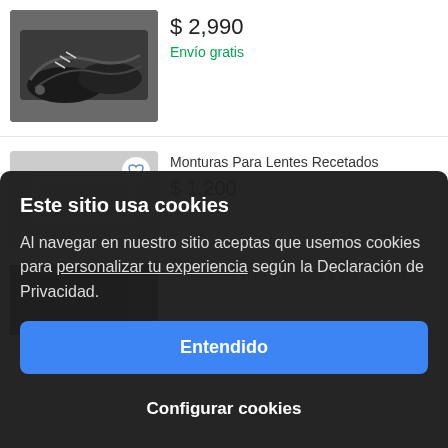$ 2,990
Envío gratis
Monturas Para Lentes Recetados
$ 1,200
Mochila De Viaje Y Escolar Para Dispositivo
Este sitio usa cookies
Al navegar en nuestro sitio aceptas que usemos cookies para personalizar tu experiencia según la Declaración de Privacidad.
Entendido
Configurar cookies